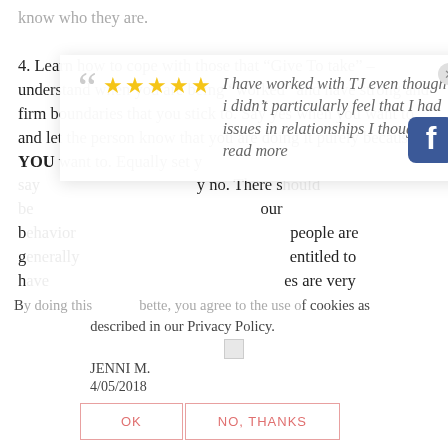know who they are.
4. Learn how to cope with those that “Give To take” – understand when you are being “worked” and have strong and firm boundaries that you stick to. Say yes when you want to and let the person know that you are doing it purely because YOU want to. Equally set y[...] y no. There s[...] our b[...] people are g[...] entitled to h[...] es are very
[Figure (screenshot): Review popup overlay with 5-star rating and italic quote text: 'I have worked with TJ even though i didn’t particularly feel that I had issues in relationships I thought I... read more', with a Facebook icon in the bottom right and a close (x) button in the top right.]
By doing this [button], you agree to the use of cookies as described in our Privacy Policy.
JENNI M.
4/05/2018
OK    NO, THANKS